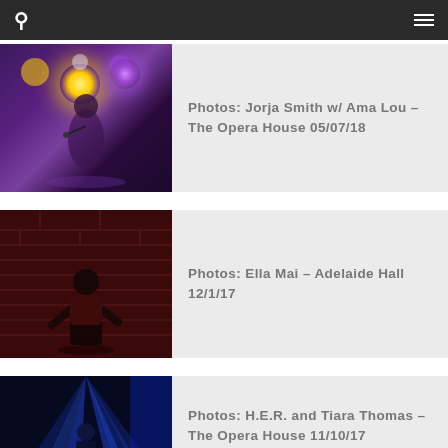Navigation bar with search and menu icons
[Figure (photo): Concert photo of Jorja Smith singing on stage with purple and yellow stage lighting]
Photos: Jorja Smith w/ Ama Lou – The Opera House 05/07/18
[Figure (photo): Concert photo of Ella Mai performing on stage with red brick background]
Photos: Ella Mai – Adelaide Hall 12/1/17
[Figure (photo): Concert photo of H.E.R. on stage with dramatic blue laser lights]
Photos: H.E.R. and Tiara Thomas – The Opera House 11/10/17